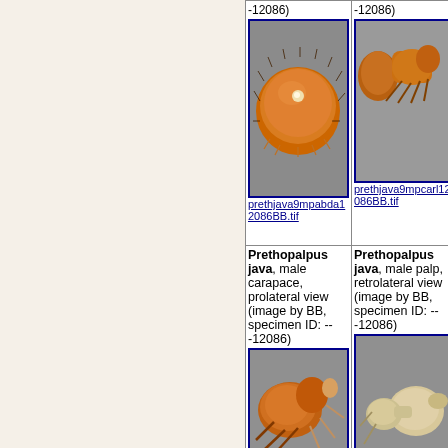(-12086)
(-12086)
[Figure (photo): Macro photograph of spider carapace, prolateral view, orange/amber colored, round shape with hair bristles]
prethjava9mpabda12086BB.tif
[Figure (photo): Macro photograph of spider, lateral view of body segments, orange/amber colored]
prethjava9mpcarl12086BB.tif
[Figure (photo): Partially visible photo on right edge]
p...
Prethopalpus java, male carapace, prolateral view (image by BB, specimen ID: ---12086)
Prethopalpus java, male palp, retrolateral view (image by BB, specimen ID: ---12086)
P... ha... by... -1...
[Figure (photo): Macro photograph of spider carapace, prolateral view showing legs and body, orange/amber colored]
prethjava9mpcarp12086BB.tif
[Figure (photo): Macro photograph of spider palp, retrolateral view, pale/cream colored]
prethjava9mppalr12086BB.tif